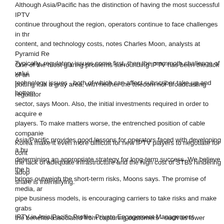Although Asia/Pacific has the distinction of having the most successful IPTV continue throughout the region, operators continue to face challenges in thr content, and technology costs, notes Charles Moon, analysts at Pyramid Re Typically, regulatory issues come first, then the mammoth challenge of valui technology issues - both of which can affect subscriber take-up and bottom
One of the most glaring problems surrounding IPTV has been the lack of an putting it in a gray area, with neither the telecom nor broadcasting regulator sector, says Moon. Also, the initial investments required in order to acquire e players. To make matters worse, the entrenched position of cable companie Korea make it even more difficult for new IPTV players to negotiate for cont the lack of adequate infrastructure and the high cost of STBs hindering adop share is intensifying.
Asia/Pacific provides good lessons for operators faced with developing a bu determining an appropriate strategy for long-term success. We believe the h brings outweigh the short-term risks, Moons says. The promise of media, ar pipe business models, is encouraging carriers to take risks and make grabs the benefits associated from capturing customers - such as lower churn, ne cash flows - provide a case for short-term sacrifices.
IPTV in Asia/Pacific Profile: Private Engagement Management Facilitating